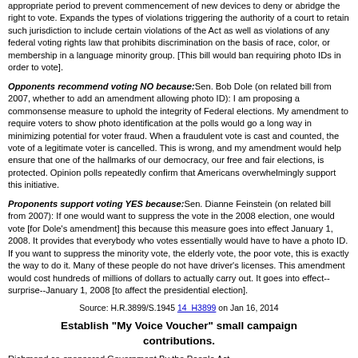appropriate period to prevent commencement of new devices to deny or abridge the right to vote. Expands the types of violations triggering the authority of a court to retain such jurisdiction to include certain violations of the Act as well as violations of any federal voting rights law that prohibits discrimination on the basis of race, color, or membership in a language minority group. [This bill would ban requiring photo IDs in order to vote].
Opponents recommend voting NO because: Sen. Bob Dole (on related bill from 2007, whether to add an amendment allowing photo ID): I am proposing a commonsense measure to uphold the integrity of Federal elections. My amendment to require voters to show photo identification at the polls would go a long way in minimizing potential for voter fraud. When a fraudulent vote is cast and counted, the vote of a legitimate voter is cancelled. This is wrong, and my amendment would help ensure that one of the hallmarks of our democracy, our free and fair elections, is protected. Opinion polls repeatedly confirm that Americans overwhelmingly support this initiative.
Proponents support voting YES because: Sen. Dianne Feinstein (on related bill from 2007): If one would want to suppress the vote in the 2008 election, one would vote [for Dole's amendment] this because this measure goes into effect January 1, 2008. It provides that everybody who votes essentially would have to have a photo ID. If you want to suppress the minority vote, the elderly vote, the poor vote, this is exactly the way to do it. Many of these people do not have driver's licenses. This amendment would cost hundreds of millions of dollars to actually carry out. It goes into effect--surprise--January 1, 2008 [to affect the presidential election].
Source: H.R.3899/S.1945 14_H3899 on Jan 16, 2014
Establish "My Voice Voucher" small campaign contributions.
Richmond co-sponsored Government By the People Act.